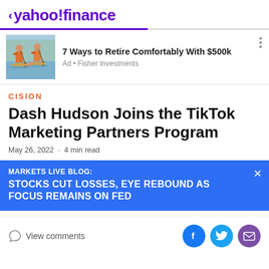< yahoo!finance
[Figure (illustration): Two people paddleboarding with a dog, wearing life jackets, outdoor scene]
7 Ways to Retire Comfortably With $500k
Ad • Fisher Investments
CISION
Dash Hudson Joins the TikTok Marketing Partners Program
May 26, 2022  ·  4 min read
MARKETS LIVE BLOG:
STOCKS CUT LOSSES, EYE REBOUND AS FOCUS REMAINS ON FED
View comments